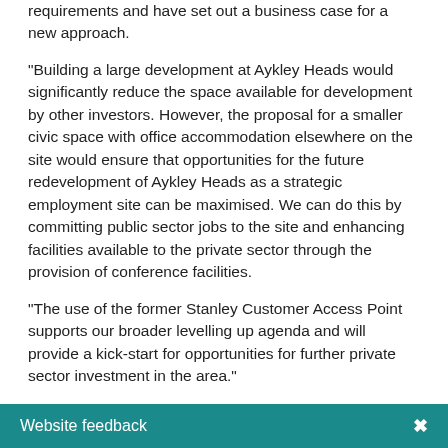requirements and have set out a business case for a new approach.
"Building a large development at Aykley Heads would significantly reduce the space available for development by other investors. However, the proposal for a smaller civic space with office accommodation elsewhere on the site would ensure that opportunities for the future redevelopment of Aykley Heads as a strategic employment site can be maximised. We can do this by committing public sector jobs to the site and enhancing facilities available to the private sector through the provision of conference facilities.
"The use of the former Stanley Customer Access Point supports our broader levelling up agenda and will provide a kick-start for opportunities for further private sector investment in the area."
Website feedback